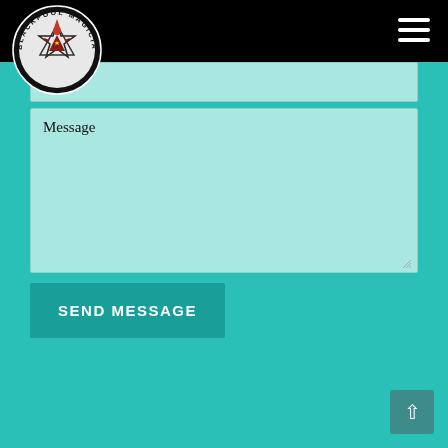Blackpool Magicians Club
Tel
Message
SEND MESSAGE
[Figure (logo): Blackpool Magicians Club circular logo with a red magician figure and star/triangle symbols]